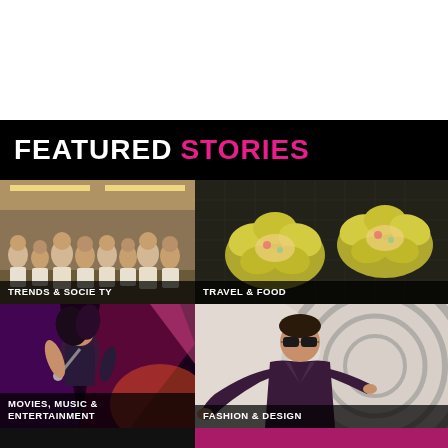FEATURED STORIES
[Figure (photo): Group photo of young people in white shirts standing in a hallway]
TRENDS & SOCIETY
[Figure (photo): Close-up of yellow flower-shaped food dumplings on a dark surface]
TRAVEL & FOOD
[Figure (photo): Singer performing on stage with purple/pink lighting]
MOVIES, MUSIC & ENTERTAINMENT
[Figure (photo): Man wearing sunglasses and dark jacket posing in front of black and white swirl background]
FASHION & DESIGN